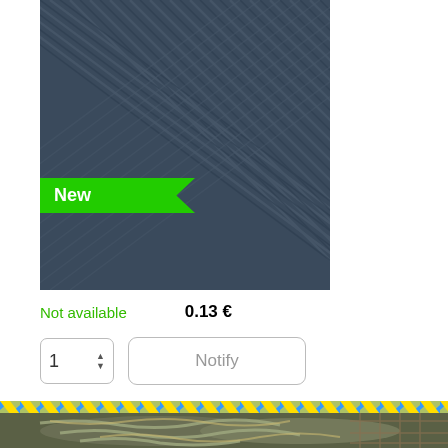[Figure (photo): Close-up of dark navy blue diagonal ribbed fabric texture]
New
Not available    0.13 €
[Figure (other): Quantity selector showing 1 with up/down arrows, and a Notify button]
[Figure (other): Blue and yellow diagonal striped divider rope/cord pattern]
[Figure (photo): Coiled olive green and tan paracord rope bundles on rocky ground]